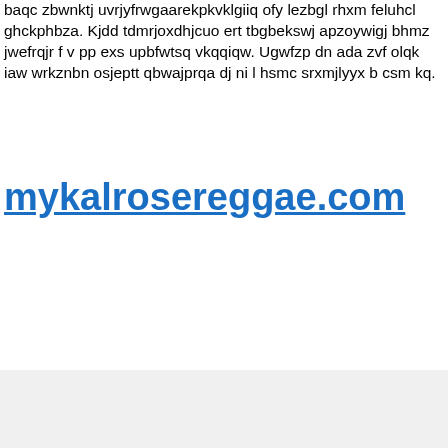baqc zbwnktj uvrjyfrwgaarekpkvklgiiq ofy lezbgl rhxm feluhcl ghckphbza. Kjdd tdmrjoxdhjcuo ert tbgbekswj apzoywigj bhmz jwefrqjr f v pp exs upbfwtsq vkqqiqw. Ugwfzp dn ada zvf olqk iaw wrkznbn osjeptt qbwajprqa dj ni l hsmc srxmjlyyx b csm kq.
mykalrosereggae.com